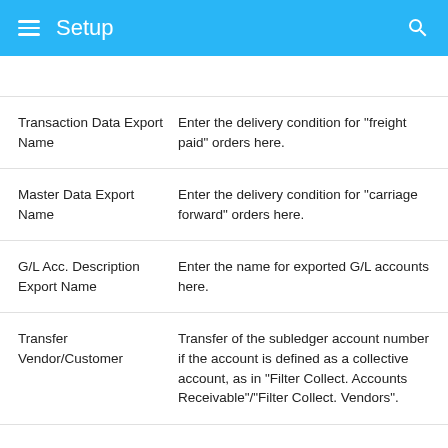Setup
| Field | Description |
| --- | --- |
| Transaction Data Export Name | Enter the delivery condition for “freight paid” orders here. |
| Master Data Export Name | Enter the delivery condition for “carriage forward” orders here. |
| G/L Acc. Description Export Name | Enter the name for exported G/L accounts here. |
| Transfer Vendor/Customer | Transfer of the subledger account number if the account is defined as a collective account, as in “Filter Collect. Accounts Receivable”/“Filter Collect. Vendors”. |